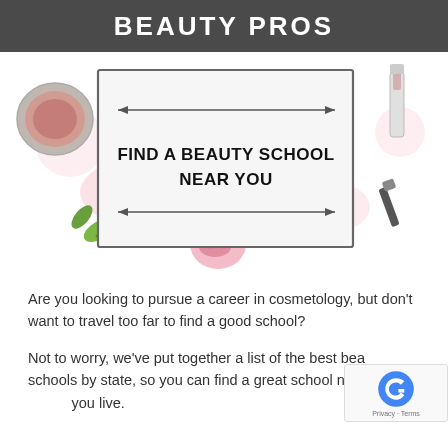BEAUTY PROS
[Figure (illustration): Hero banner with decorative beauty items (cosmetics, flowers, gift box, leaves) and a central framed box with double-arrow lines reading FIND A BEAUTY SCHOOL NEAR YOU]
Are you looking to pursue a career in cosmetology, but don't want to travel too far to find a good school?
Not to worry, we've put together a list of the best beauty schools by state, so you can find a great school near where you live.